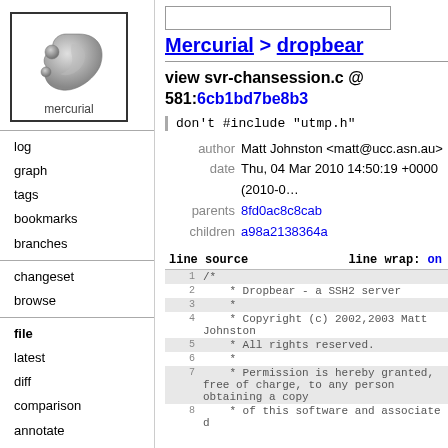[Figure (logo): Mercurial logo: grey drop/comma shape with smaller circles, text 'mercurial' below, inside a bordered box]
log
graph
tags
bookmarks
branches
changeset
browse
file
latest
diff
comparison
annotate
file log
raw
Mercurial > dropbear
view svr-chansession.c @ 581:6cb1bd7be8b3
don't #include "utmp.h"
author Matt Johnston <matt@ucc.asn.au>
date Thu, 04 Mar 2010 14:50:19 +0000 (2010-0...
parents 8fd0ac8c8cab
children a98a2138364a
| line | source | line wrap: on |
| --- | --- | --- |
| 1 | /* |
| 2 |     * Dropbear - a SSH2 server |
| 3 |     * |
| 4 |     * Copyright (c) 2002,2003 Matt Johnston |
| 5 |     * All rights reserved. |
| 6 |     * |
| 7 |     * Permission is hereby granted, free of charge, to any person obtaining a copy |
| 8 |     * of this software and associated |